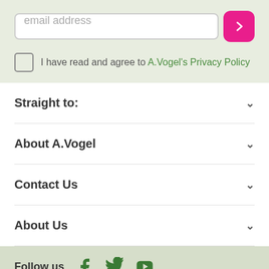email address
I have read and agree to A.Vogel's Privacy Policy
Straight to:
About A.Vogel
Contact Us
About Us
Follow us
Privacy Policy   Terms & Conditions   Disclaimer